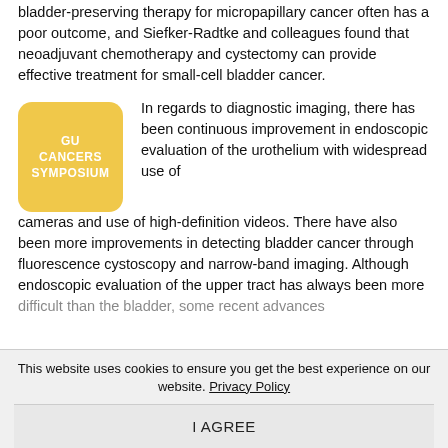bladder-preserving therapy for micropapillary cancer often has a poor outcome, and Siefker-Radtke and colleagues found that neoadjuvant chemotherapy and cystectomy can provide effective treatment for small-cell bladder cancer.
[Figure (logo): GU Cancers Symposium logo — golden yellow rounded square with white bold text reading GU CANCERS SYMPOSIUM]
In regards to diagnostic imaging, there has been continuous improvement in endoscopic evaluation of the urothelium with widespread use of cameras and use of high-definition videos. There have also been more improvements in detecting bladder cancer through fluorescence cystoscopy and narrow-band imaging. Although endoscopic evaluation of the upper tract has always been more difficult than the bladder, some recent advances...
This website uses cookies to ensure you get the best experience on our website. Privacy Policy
I AGREE